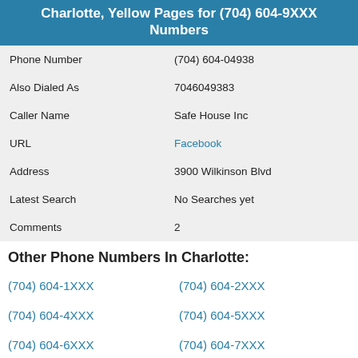Charlotte, Yellow Pages for (704) 604-9XXX Numbers
|  |  |
| --- | --- |
| Phone Number | (704) 604-04938 |
| Also Dialed As | 7046049383 |
| Caller Name | Safe House Inc |
| URL | Facebook |
| Address | 3900 Wilkinson Blvd |
| Latest Search | No Searches yet |
| Comments | 2 |
Other Phone Numbers In Charlotte:
(704) 604-1XXX
(704) 604-2XXX
(704) 604-4XXX
(704) 604-5XXX
(704) 604-6XXX
(704) 604-7XXX